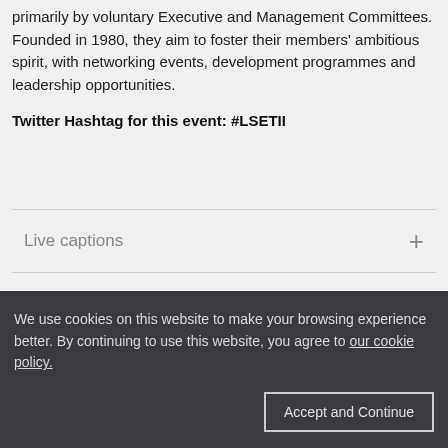primarily by voluntary Executive and Management Committees. Founded in 1980, they aim to foster their members' ambitious spirit, with networking events, development programmes and leadership opportunities.
Twitter Hashtag for this event: #LSETII
Live captions
We use cookies on this website to make your browsing experience better. By continuing to use this website, you agree to our cookie policy.
Accept and Continue